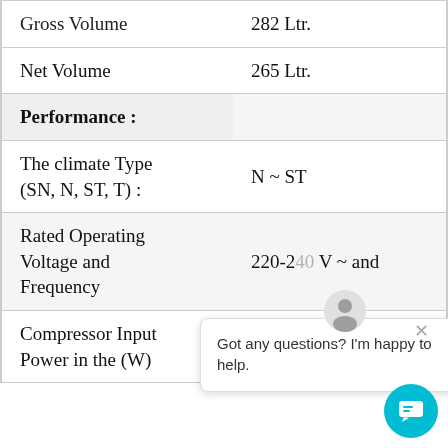| Property | Value |
| --- | --- |
| Gross Volume | 282 Ltr. |
| Net Volume | 265 Ltr. |
| Performance : |  |
| The climate Type (SN, N, ST, T) : | N ~ ST |
| Rated Operating Voltage and Frequency | 220-240 V ~ and |
| Compressor Input Power in the (W) | V 0301- 96
V 0401- 111 |
Got any questions? I'm happy to help.